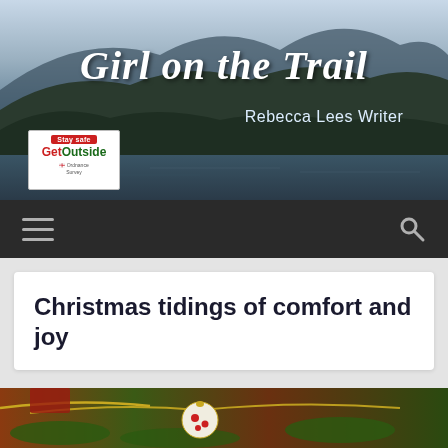[Figure (photo): Landscape photo of rolling hills/mountains with lake below, used as blog header banner background]
Girl on the Trail
Rebecca Lees Writer
[Figure (logo): GetOutside badge with 'Stay safe' red banner, green text, and Ordnance Survey/Lottery Fund logos]
[Figure (screenshot): Dark navigation bar with hamburger menu icon on left and search icon on right]
Christmas tidings of comfort and joy
[Figure (photo): Close-up photo of Christmas tree ornaments including baubles and tinsel in warm tones]